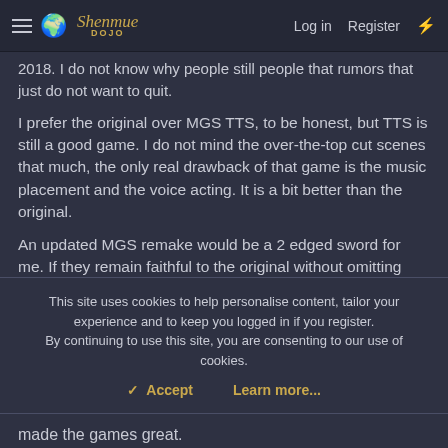Shenmue Dojo — Log in  Register
2018. I do not know why people still people that rumors that just do not want to quit.
I prefer the original over MGS TTS, to be honest, but TTS is still a good game. I do not mind the over-the-top cut scenes that much, the only real drawback of that game is the music placement and the voice acting. It is a bit better than the original.
An updated MGS remake would be a 2 edged sword for me. If they remain faithful to the original without omitting
This site uses cookies to help personalise content, tailor your experience and to keep you logged in if you register.
By continuing to use this site, you are consenting to our use of cookies.
✓  Accept    Learn more...
made the games great.